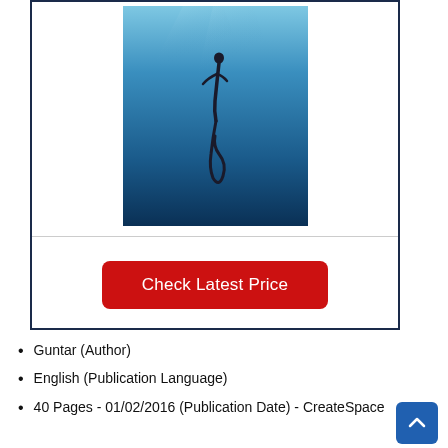[Figure (illustration): Book cover showing a freediver silhouette underwater in deep blue ocean water, swimming downward with a long fin/tail visible.]
Check Latest Price
Guntar (Author)
English (Publication Language)
40 Pages - 01/02/2016 (Publication Date) - CreateSpace